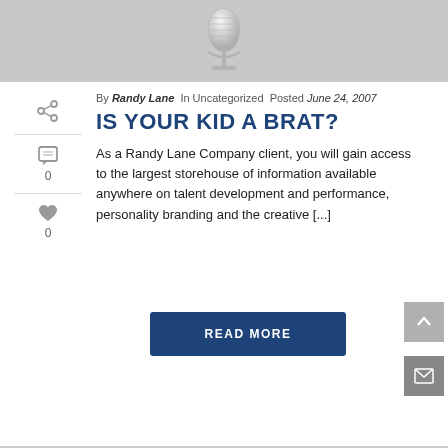[Figure (illustration): Gray banner with a silver vintage microphone illustration centered on a light gray background]
By Randy Lane In Uncategorized Posted June 24, 2007
IS YOUR KID A BRAT?
As a Randy Lane Company client, you will gain access to the largest storehouse of information available anywhere on talent development and performance, personality branding and the creative [...]
READ MORE